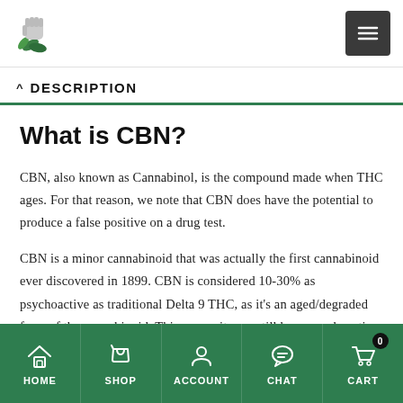[Logo] [Hamburger menu button]
^ DESCRIPTION
What is CBN?
CBN, also known as Cannabinol, is the compound made when THC ages. For that reason, we note that CBN does have the potential to produce a false positive on a drug test.
CBN is a minor cannabinoid that was actually the first cannabinoid ever discovered in 1899. CBN is considered 10-30% as psychoactive as traditional Delta 9 THC, as it's an aged/degraded form of the cannabinoid. This means it may still have psychoactive
HOME  SHOP  ACCOUNT  CHAT  CART